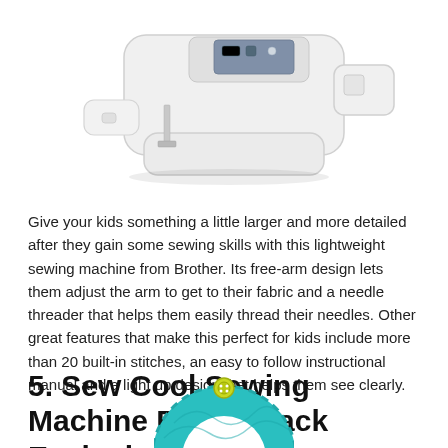[Figure (photo): White lightweight Brother sewing machine with free-arm design, viewed from a slight angle above, on white background.]
Give your kids something a little larger and more detailed after they gain some sewing skills with this lightweight sewing machine from Brother. Its free-arm design lets them adjust the arm to get to their fabric and a needle threader that helps them easily thread their needles. Other great features that make this perfect for kids include more than 20 built-in stitches, an easy to follow instructional manual and a light up design that helps them see clearly.
5. Sew Cool Sewing Machine Bonus Pack Exclusive in Purple
[Figure (photo): Teal/turquoise circular sewing-related item with a yellow button at the top, partially visible at the bottom of the page.]